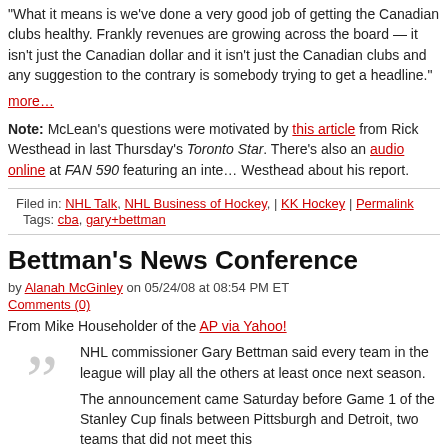“What it means is we’ve done a very good job of getting the Canadian clubs healthy. Frankly revenues are growing across the board — it isn’t just the Canadian dollar and it isn’t just the Canadian clubs and any suggestion to the contrary is somebody trying to get a headline.”
more…
Note: McLean’s questions were motivated by this article from Rick Westhead in last Thursday’s Toronto Star. There’s also an audio online at FAN 590 featuring an interview with Westhead about his report.
Filed in: NHL Talk, NHL Business of Hockey, | KK Hockey | Permalink
Tags: cba, gary+bettman
Bettman’s News Conference
by Alanah McGinley on 05/24/08 at 08:54 PM ET
Comments (0)
From Mike Householder of the AP via Yahoo!
NHL commissioner Gary Bettman said every team in the league will play all the others at least once next season.

The announcement came Saturday before Game 1 of the Stanley Cup finals between Pittsburgh and Detroit, two teams that did not meet this